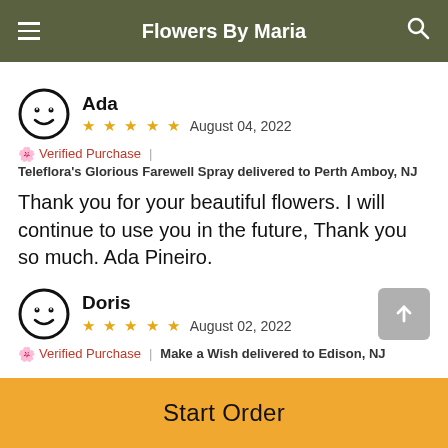Flowers By Maria
Ada
★★★★★ August 04, 2022
🌸 Verified Purchase | Teleflora's Glorious Farewell Spray delivered to Perth Amboy, NJ
Thank you for your beautiful flowers. I will continue to use you in the future, Thank you so much. Ada Pineiro.
Doris
★★★★★ August 02, 2022
🌸 Verified Purchase | Make a Wish delivered to Edison, NJ
Start Order